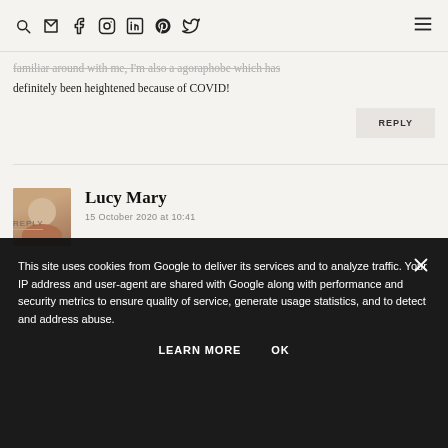Search, Email, Facebook, Instagram, LinkedIn, Pinterest, Twitter icons; hamburger menu
...familiar around with me, I'm also a agoraphobe which has definitely been heightened because of COVID!
REPLY
Lucy Mary
15 October 2020 at 10:41
This site uses cookies from Google to deliver its services and to analyze traffic. Your IP address and user-agent are shared with Google along with performance and security metrics to ensure quality of service, generate usage statistics, and to detect and address abuse.
LEARN MORE
OK
REPLY